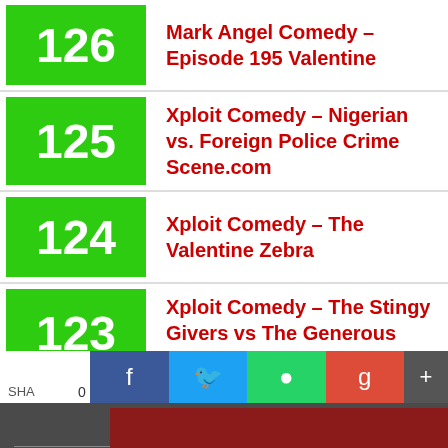126 Mark Angel Comedy – Episode 195 Valentine
125 Xploit Comedy – Nigerian vs. Foreign Police Crime Scene.com
124 Xploit Comedy – The Valentine Zebra
123 Xploit Comedy – The Stingy Givers vs The Generous Givers
Games & Apps
Symbian Apps    Java Apps    Android Apps